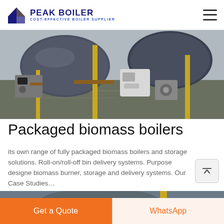PEAK BOILER — COST-EFFECTIVE BOILER SUPPLIER
[Figure (photo): Industrial boiler room with large cylindrical boilers, yellow gas pipes, and associated control equipment on a wet concrete floor]
Packaged biomass boilers
its own range of fully packaged biomass boilers and storage solutions. Roll-on/roll-off bin delivery systems. Purpose designed biomass burner, storage and delivery systems. Our Case Studies…
[Figure (photo): Close-up of industrial boiler tanks and yellow pipes inside an industrial facility]